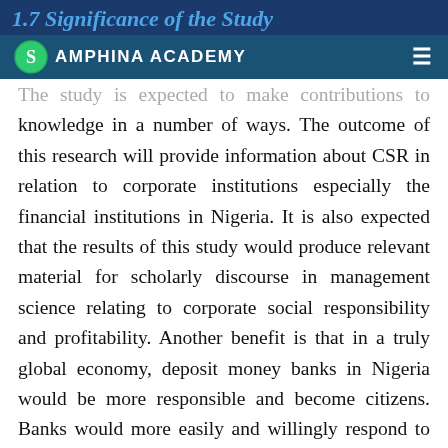1.7 Significance of the Study
AMPHINA ACADEMY
The study is expected to make contributions to knowledge in a number of ways. The outcome of this research will provide information about CSR in relation to corporate institutions especially the financial institutions in Nigeria. It is also expected that the results of this study would produce relevant material for scholarly discourse in management science relating to corporate social responsibility and profitability. Another benefit is that in a truly global economy, deposit money banks in Nigeria would be more responsible and become citizens. Banks would more easily and willingly respond to the social needs of the societies where they operate.